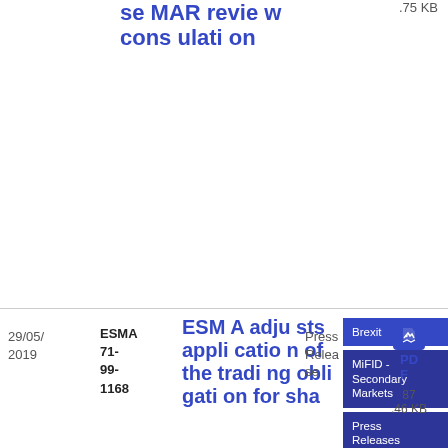se MAR review consultation
.75 KB
29/05/2019
ESMA 71-99-1168
ESMA adjusts application of the trading obligation for sha
Brexit
MiFID - Secondary Markets
Press Releases
Press Release
PDF
87.46 KB